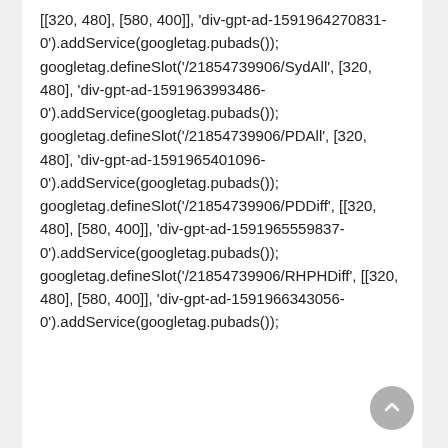[[320, 480], [580, 400]], 'div-gpt-ad-1591964270831-0').addService(googletag.pubads()); googletag.defineSlot('/21854739906/SydAll', [320, 480], 'div-gpt-ad-1591963993486-0').addService(googletag.pubads()); googletag.defineSlot('/21854739906/PDAll', [320, 480], 'div-gpt-ad-1591965401096-0').addService(googletag.pubads()); googletag.defineSlot('/21854739906/PDDiff', [[320, 480], [580, 400]], 'div-gpt-ad-1591965559837-0').addService(googletag.pubads()); googletag.defineSlot('/21854739906/RHPHDiff', [[320, 480], [580, 400]], 'div-gpt-ad-1591966343056-0').addService(googletag.pubads());